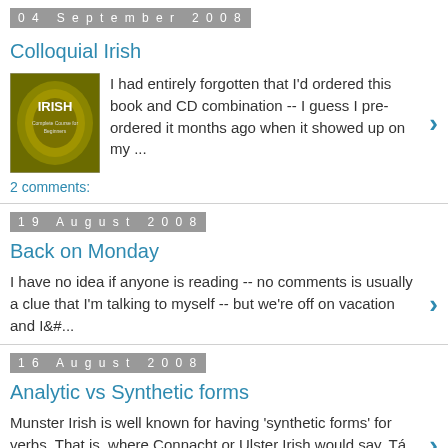04 September 2008
Colloquial Irish
I had entirely forgotten that I'd ordered this book and CD combination -- I guess I pre-ordered it months ago when it showed up on my ...
2 comments:
19 August 2008
Back on Monday
I have no idea if anyone is reading -- no comments is usually a clue that I'm talking to myself -- but we're off on vacation and I&#...
16 August 2008
Analytic vs Synthetic forms
Munster Irish is well known for having 'synthetic forms' for verbs. That is, where Connacht or Ulster Irish would say, Tá mé go mai...